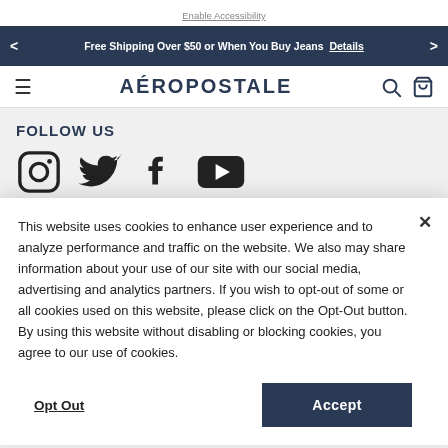Enable Accessibility
Free Shipping Over $50 or When You Buy Jeans  Details
AÉROPOSTALE
FOLLOW US
[Figure (illustration): Social media icons: Instagram, Twitter, Facebook, YouTube]
This website uses cookies to enhance user experience and to analyze performance and traffic on the website. We also may share information about your use of our site with our social media, advertising and analytics partners. If you wish to opt-out of some or all cookies used on this website, please click on the Opt-Out button. By using this website without disabling or blocking cookies, you agree to our use of cookies.
Opt Out
Accept